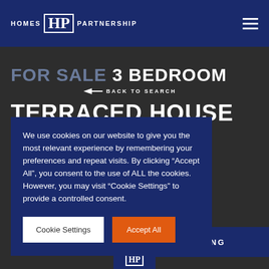HOMES HP PARTNERSHIP
FOR SALE 3 BEDROOM TERRACED HOUSE
BACK TO SEARCH
rk / forest this ver! Extended sport links this here for further
We use cookies on our website to give you the most relevant experience by remembering your preferences and repeat visits. By clicking “Accept All”, you consent to the use of ALL the cookies. However, you may visit "Cookie Settings" to provide a controlled consent.
Cookie Settings
Accept All
IEWING